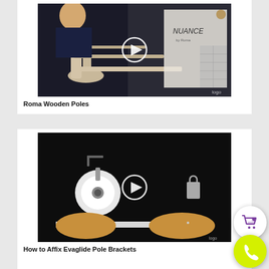[Figure (screenshot): Video thumbnail showing a man holding wooden curtain poles with a play button overlay. Text 'NUANCE' visible in background.]
Roma Wooden Poles
[Figure (screenshot): Video thumbnail showing hands working with Evaglide pole brackets on a dark background, with a play button overlay.]
How to Affix Evaglide Pole Brackets